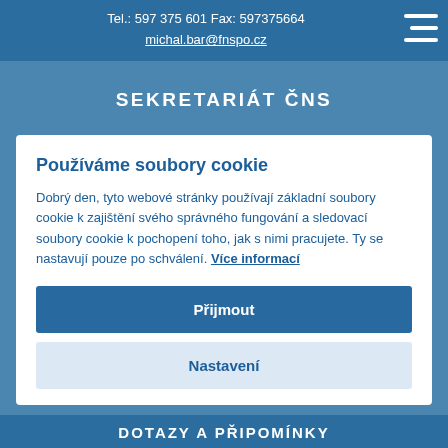Tel.: 597 375 601 Fax: 597375664
michal.bar@fnspo.cz
SEKRETARIÁT ČNS
Používáme soubory cookie
Dobrý den, tyto webové stránky používají základní soubory cookie k zajištění svého správného fungování a sledovací soubory cookie k pochopení toho, jak s nimi pracujete. Ty se nastavují pouze po schválení. Více informací
Přijmout
Nastavení
DOTAZY A PŘIPOMÍNKY